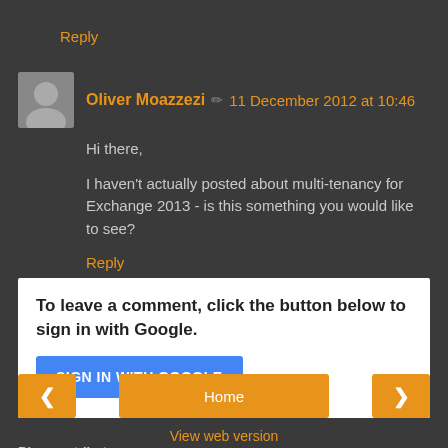Reply
Oliver Moazzezi ✏ 11 December 2012 at 10:46
Hi there,
I haven't actually posted about multi-tenancy for Exchange 2013 - is this something you would like to see?
Reply
To leave a comment, click the button below to sign in with Google.
SIGN IN WITH GOOGLE
Home
View web version
Blog contributors